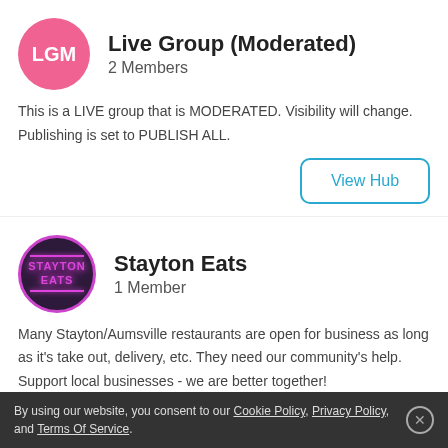Live Group (Moderated)
2 Members
This is a LIVE group that is MODERATED. Visibility will change. Publishing is set to PUBLISH ALL.
View Hub
Stayton Eats
1 Member
Many Stayton/Aumsville restaurants are open for business as long as it's take out, delivery, etc. They need our community's help. Support local businesses - we are better together!
By using our website, you consent to our Cookie Policy, Privacy Policy, and Terms Of Service.